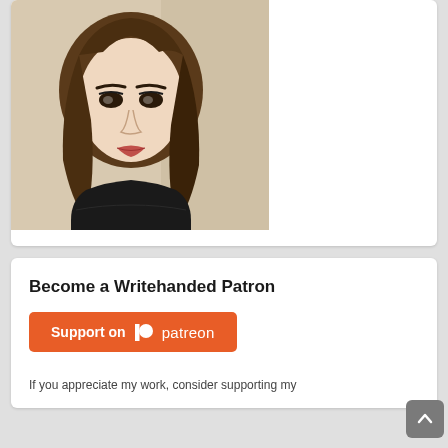[Figure (photo): Portrait photo of a young woman with brown bangs and shoulder-length wavy hair, wearing a black sweater, against a neutral background.]
Become a Writehanded Patron
[Figure (illustration): Patreon 'Support on Patreon' orange button with Patreon logo icon.]
If you appreciate my work, consider supporting my